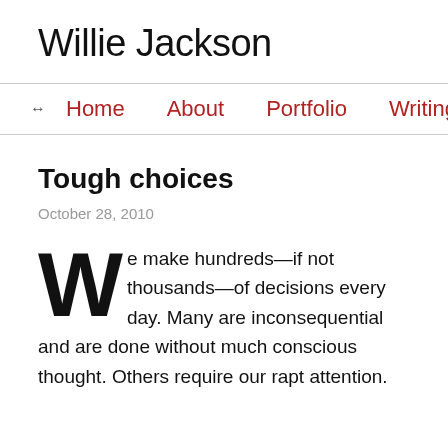Willie Jackson
↔  Home   About   Portfolio   Writing   Con
Tough choices
October 28, 2010
We make hundreds—if not thousands—of decisions every day. Many are inconsequential and are done without much conscious thought. Others require our rapt attention.